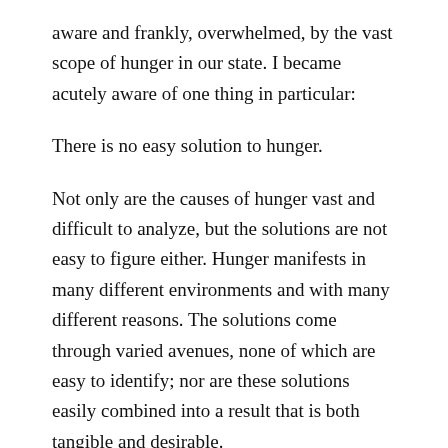aware and frankly, overwhelmed, by the vast scope of hunger in our state. I became acutely aware of one thing in particular:
There is no easy solution to hunger.
Not only are the causes of hunger vast and difficult to analyze, but the solutions are not easy to figure either. Hunger manifests in many different environments and with many different reasons. The solutions come through varied avenues, none of which are easy to identify; nor are these solutions easily combined into a result that is both tangible and desirable.
With these complexities in mind, I call upon all New Mexicans – especially those considered more fortunate –